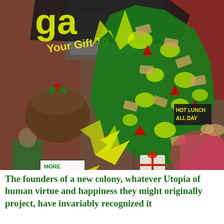[Figure (illustration): A colorful collage illustration featuring a Christmas tree made of green and yellow splattery shapes covered in dollar bills, gift tags, and red decorative elements. Text at top reads 'Your Gift To...' in yellow letters on dark background. Various photographic elements including crowds of people, a figure in green costume holding a sign reading 'MORE buy nothing', gift boxes with red ribbon crosses, a hot lunch sign, and other holiday consumer culture imagery combined in a dada-style collage.]
The founders of a new colony, whatever Utopia of human virtue and happiness they might originally project, have invariably recognized it